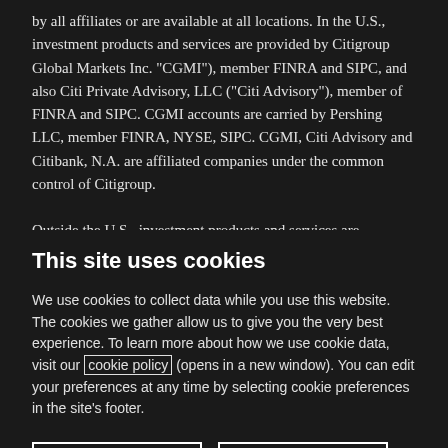by all affiliates or are available at all locations. In the U.S., investment products and services are provided by Citigroup Global Markets Inc. "CGMI"), member FINRA and SIPC, and also Citi Private Advisory, LLC ("Citi Advisory"), member of FINRA and SIPC. CGMI accounts are carried by Pershing LLC, member FINRA, NYSE, SIPC. CGMI, Citi Advisory and Citibank, N.A. are affiliated companies under the common control of Citigroup.

Outside the U.S., investment products and services are provided by other Citigroup affiliates. Investment Management services (including portfolio management) are available through CGMI, Citi Advisory, Citibank, N.A. and other
This site uses cookies
We use cookies to collect data while you use this website. The cookies we gather allow us to give you the very best experience. To learn more about how we use cookie data, visit our cookie policy (opens in a new window). You can edit your preferences at any time by selecting cookie preferences in the site's footer.
Accept all
Preferences